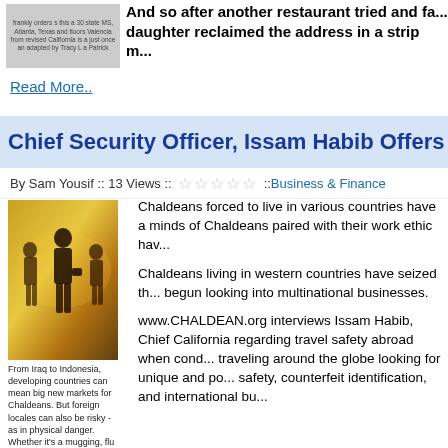And so after another restaurant tried and failed, a daughter reclaimed the address in a strip m...
Read More..
Chief Security Officer, Issam Habib Offers Interna...
By Sam Yousif :: 13 Views :: ☆☆☆☆☆ :: Business & Finance
[Figure (photo): Silhouette of business travelers against a golden world map background]
From Iraq to Indonesia, developing countries can mean big new markets for Chaldeans. But foreign locales can also be risky - as in physical danger. Whether it's a mugging, flu outbreak, or military coup, business travelers tend to be unprepared when a sudden crisis hits. Issam Habib, chief security officer for
Chaldeans forced to live in various countries have a minds of Chaldeans paired with their work ethic hav...
Chaldeans living in western countries have seized th... begun looking into multinational businesses.
www.CHALDEAN.org interviews Issam Habib, Chief California regarding travel safety abroad when cond... traveling around the globe looking for unique and po... safety, counterfeit identification, and international bu...